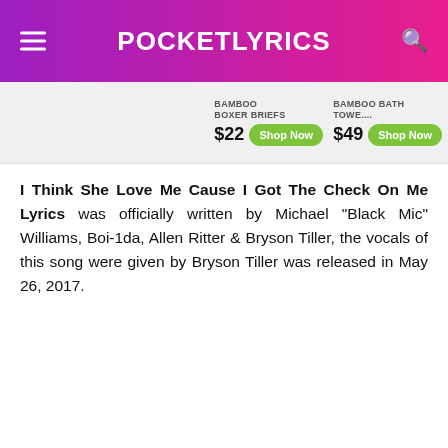POCKETLYRICS
[Figure (screenshot): Advertisement bar showing bamboo boxer briefs for $22 and bamboo bath towel for $49 with Shop Now green buttons]
I Think She Love Me Cause I Got The Check On Me Lyrics was officially written by Michael "Black Mic" Williams, Boi-1da, Allen Ritter & Bryson Tiller, the vocals of this song were given by Bryson Tiller was released in May 26, 2017.
I Think She Love Me Cause I Got The Check On Me Lyrics